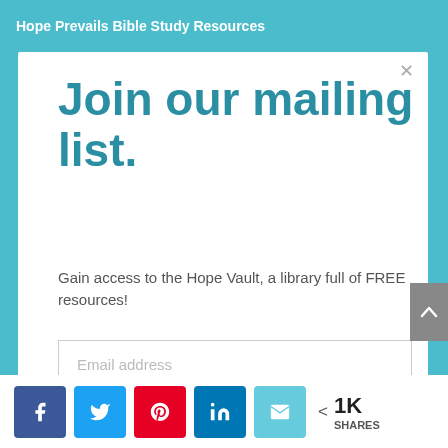Hope Prevails Bible Study Resources
Join our mailing list.
Gain access to the Hope Vault, a library full of FREE resources!
Email address
JOIN TODAY!
< 1K SHARES